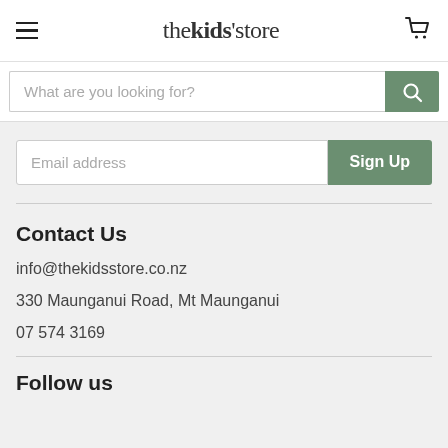thekids'store
What are you looking for?
Email address
Sign Up
Contact Us
info@thekidsstore.co.nz
330 Maunganui Road, Mt Maunganui
07 574 3169
Follow us